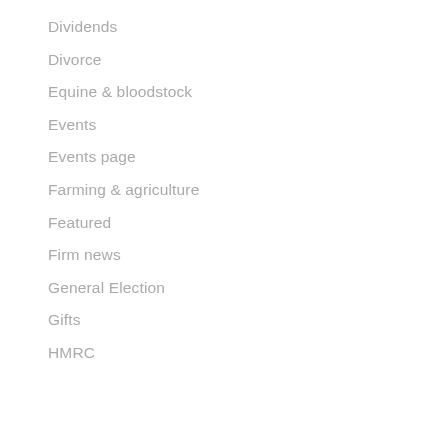Dividends
Divorce
Equine & bloodstock
Events
Events page
Farming & agriculture
Featured
Firm news
General Election
Gifts
HMRC